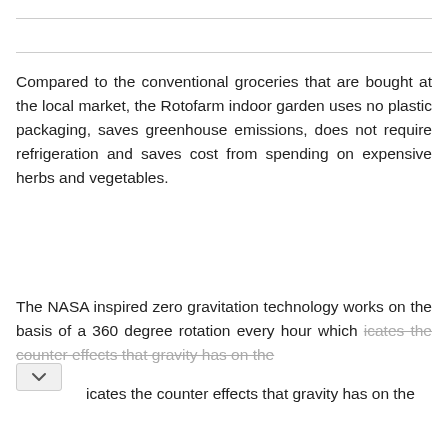Compared to the conventional groceries that are bought at the local market, the Rotofarm indoor garden uses no plastic packaging, saves greenhouse emissions, does not require refrigeration and saves cost from spending on expensive herbs and vegetables.
The NASA inspired zero gravitation technology works on the basis of a 360 degree rotation every hour which [continues: ] ...icates the counter effects that gravity has on the